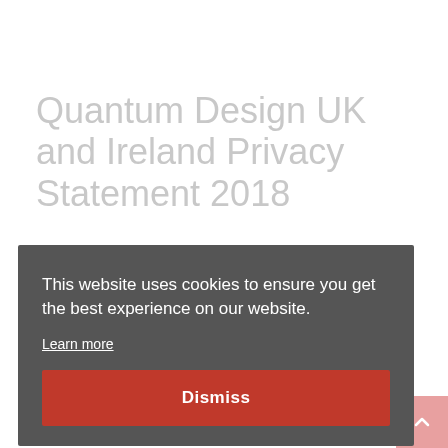Quantum Design UK and Ireland Privacy Statement 2018
Quantum Design UK and Ireland Ltd are committed to protecting and respecting any personal information that you share with us. This Privacy Statement sets out our current data processing practices for our relevant activities here in the UK. As a company, our mission is to supply, support and service scientific instruments to the research market. In line with our mission, you will only be asked to submit information that is suitable to do what you have requested. Hence, during our interactions, we will use only the minimum required personal information about you or anyone not business who is a contact, as we will make it easy of you to find out what information we are collecting to
This website uses cookies to ensure you get the best experience on our website.
Learn more
Dismiss